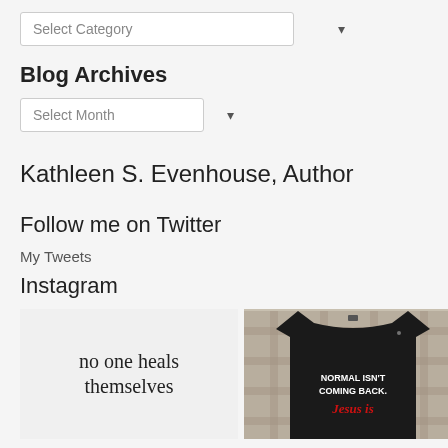[Figure (screenshot): Dropdown select box with 'Select Category' placeholder and chevron arrow]
Blog Archives
[Figure (screenshot): Dropdown select box with 'Select Month' placeholder and chevron arrow]
Kathleen S. Evenhouse, Author
Follow me on Twitter
My Tweets
Instagram
[Figure (photo): Left image: white background with dark text reading 'no one heals themselves'. Right image: black t-shirt on plaid background with white text 'NORMAL ISN'T COMING BACK.' and red cursive text 'Jesus is']